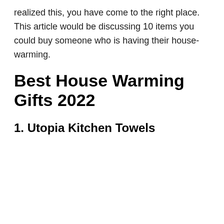realized this, you have come to the right place. This article would be discussing 10 items you could buy someone who is having their house-warming.
Best House Warming Gifts 2022
1. Utopia Kitchen Towels